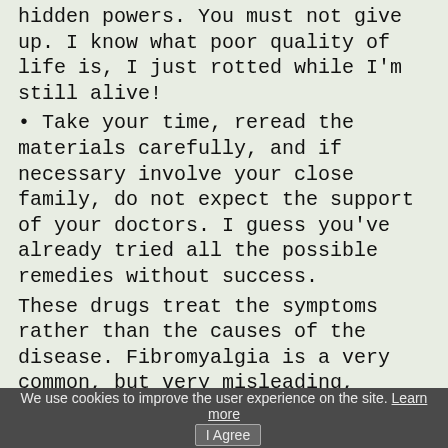hidden powers. You must not give up. I know what poor quality of life is, I just rotted while I'm still alive!
• Take your time, reread the materials carefully, and if necessary involve your close family, do not expect the support of your doctors. I guess you've already tried all the possible remedies without success.
These drugs treat the symptoms rather than the causes of the disease. Fibromyalgia is a very common, but very misleading, disease, especially the multiple symptoms in a large number of organs and systems. Fibromyalgia
We use cookies to improve the user experience on the site. Learn more   I Agree